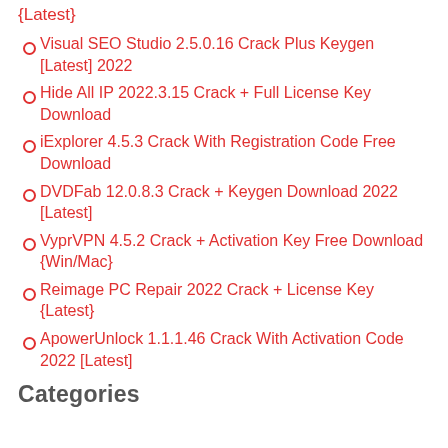{Latest}
Visual SEO Studio 2.5.0.16 Crack Plus Keygen [Latest] 2022
Hide All IP 2022.3.15 Crack + Full License Key Download
iExplorer 4.5.3 Crack With Registration Code Free Download
DVDFab 12.0.8.3 Crack + Keygen Download 2022 [Latest]
VyprVPN 4.5.2 Crack + Activation Key Free Download {Win/Mac}
Reimage PC Repair 2022 Crack + License Key {Latest}
ApowerUnlock 1.1.1.46 Crack With Activation Code 2022 [Latest]
Categories